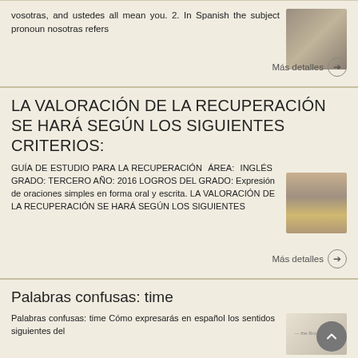vosotras, and ustedes all mean you. 2. In Spanish the subject pronoun nosotras refers
Más detalles →
LA VALORACIÓN DE LA RECUPERACIÓN SE HARÁ SEGÚN LOS SIGUIENTES CRITERIOS:
GUÍA DE ESTUDIO PARA LA RECUPERACIÓN ÁREA: INGLÉS GRADO: TERCERO AÑO: 2016 LOGROS DEL GRADO: Expresión de oraciones simples en forma oral y escrita. LA VALORACIÓN DE LA RECUPERACIÓN SE HARÁ SEGÚN LOS SIGUIENTES
Más detalles →
Palabras confusas: time
Palabras confusas: time Cómo expresarás en español los sentidos siguientes del